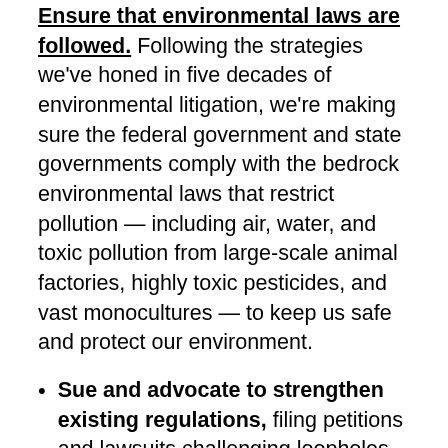Ensure that environmental laws are followed. Following the strategies we've honed in five decades of environmental litigation, we're making sure the federal government and state governments comply with the bedrock environmental laws that restrict pollution — including air, water, and toxic pollution from large-scale animal factories, highly toxic pesticides, and vast monocultures — to keep us safe and protect our environment.
Sue and advocate to strengthen existing regulations, filing petitions and lawsuits challenging loopholes in existing rules, such as one that exempted factory farms from reporting their toxic emissions, another that allowed unchecked conversion of native grassland for biofuel production, and one that failed to prevent pesticides from being sprayed